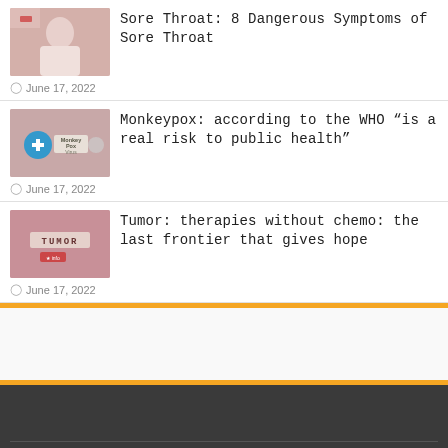[Figure (photo): Thumbnail image for sore throat article showing person in white]
Sore Throat: 8 Dangerous Symptoms of Sore Throat
June 17, 2022
[Figure (photo): Thumbnail image for monkeypox article showing medical icons and Monkey Pox Virus text]
Monkeypox: according to the WHO "is a real risk to public health"
June 17, 2022
[Figure (photo): Thumbnail image for tumor article showing TUMOR text on pinkish background]
Tumor: therapies without chemo: the last frontier that gives hope
June 17, 2022
Powered by WordPress | TrendPressWire
© Copyright 2022, All Rights Reserved